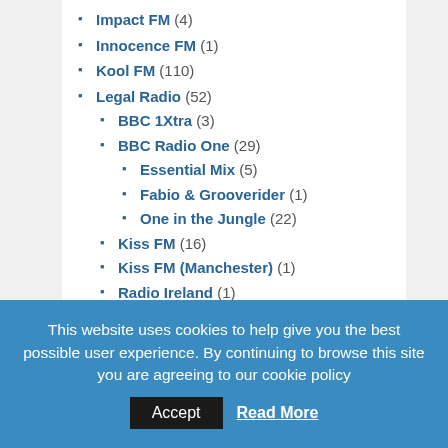Impact FM (4)
Innocence FM (1)
Kool FM (110)
Legal Radio (52)
BBC 1Xtra (3)
BBC Radio One (29)
Essential Mix (5)
Fabio & Grooverider (1)
One in the Jungle (22)
Kiss FM (16)
Kiss FM (Manchester) (1)
Radio Ireland (1)
Power FM Bristol (1)
Pressure FM (2)
Pulse FM (21)
Rave FM (1)
This website uses cookies to help give you the best possible user experience. By continuing to browse this site you are agreeing to our cookie policy